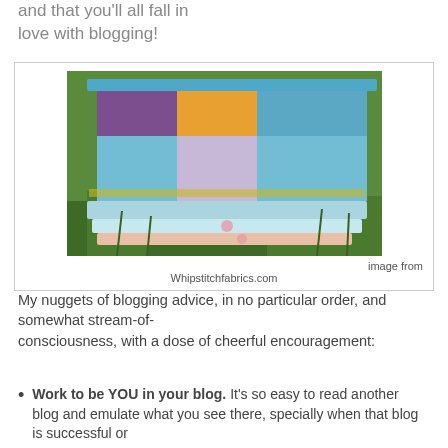and that you'll all fall in love with blogging!
[Figure (photo): A stack of colorful quilts folded and lying on grass outdoors, showing blue, orange, green, and patterned fabrics.]
image from Whipstitchfabrics.com
My nuggets of blogging advice, in no particular order, and somewhat stream-of-consciousness, with a dose of cheerful encouragement:
Work to be YOU in your blog. It's so easy to read another blog and emulate what you see there, specially when that blog is successful or